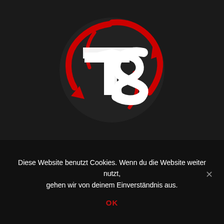[Figure (logo): Toddy Style logo: a circular red swoosh/spiral design with white stylized 'TS' letters in the center on a dark background]
TODDY STYLE – HEADQUARTER
Diese Website benutzt Cookies. Wenn du die Website weiter nutzt, gehen wir von deinem Einverständnis aus.
OK